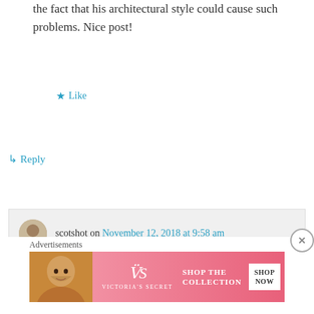the fact that his architectural style could cause such problems. Nice post!
★ Like
↳ Reply
scotshot on November 12, 2018 at 9:58 am
There are no FLW houses pictured in this article, idiot.
★ Like
↳ Reply
Advertisements
[Figure (photo): Victoria's Secret advertisement banner with model, logo, and Shop Now button]